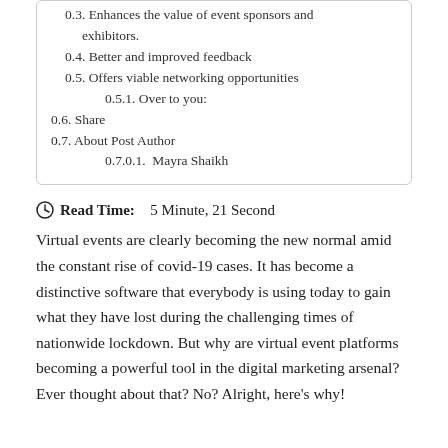0.3. Enhances the value of event sponsors and exhibitors.
0.4. Better and improved feedback
0.5. Offers viable networking opportunities
0.5.1. Over to you:
0.6. Share
0.7. About Post Author
0.7.0.1. Mayra Shaikh
Read Time: 5 Minute, 21 Second
Virtual events are clearly becoming the new normal amid the constant rise of covid-19 cases. It has become a distinctive software that everybody is using today to gain what they have lost during the challenging times of nationwide lockdown. But why are virtual event platforms becoming a powerful tool in the digital marketing arsenal? Ever thought about that? No? Alright, here’s why!